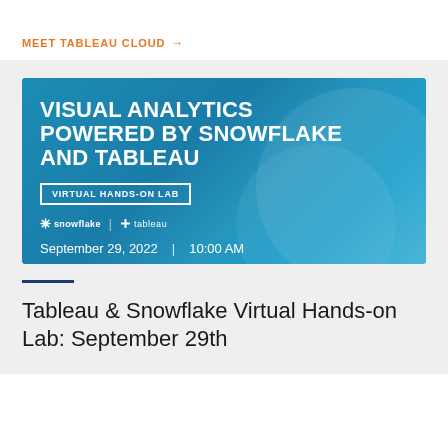MEET TABLEAU CLOUD →
[Figure (screenshot): Event banner with blue gradient background. Title reads 'VISUAL ANALYTICS POWERED BY SNOWFLAKE AND TABLEAU'. Badge: 'VIRTUAL HANDS-ON LAB'. Logos: snowflake and tableau. Date: September 29, 2022 | 10:00 AM]
Tableau & Snowflake Virtual Hands-on Lab: September 29th